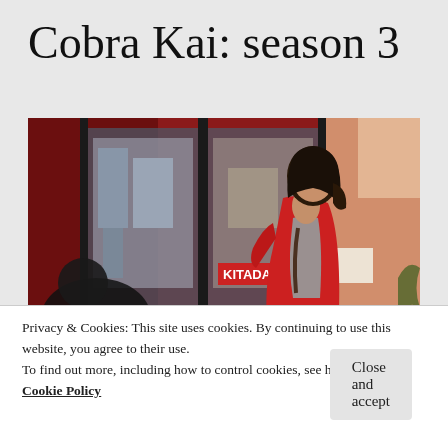Cobra Kai: season 3
[Figure (photo): A young woman with dark hair wearing a red jacket and grey top stands in front of a Japanese restaurant storefront with glass doors, looking towards the camera. The scene appears to be from the TV show Cobra Kai season 3.]
Privacy & Cookies: This site uses cookies. By continuing to use this website, you agree to their use.
To find out more, including how to control cookies, see here: Cookie Policy
Close and accept